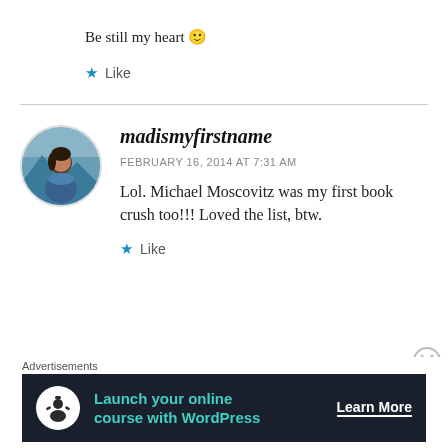Be still my heart 🙂
Like
madismyfirstname
FEBRUARY 16, 2014 AT 7:31 AM
Lol. Michael Moscovitz was my first book crush too!!! Loved the list, btw.
Like
Advertisements
Launch your online course with WordPress
Learn More